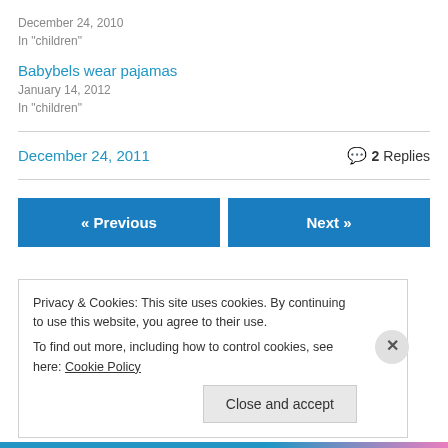December 24, 2010
In "children"
Babybels wear pajamas
January 14, 2012
In "children"
December 24, 2011
2 Replies
« Previous
Next »
Privacy & Cookies: This site uses cookies. By continuing to use this website, you agree to their use.
To find out more, including how to control cookies, see here: Cookie Policy
Close and accept